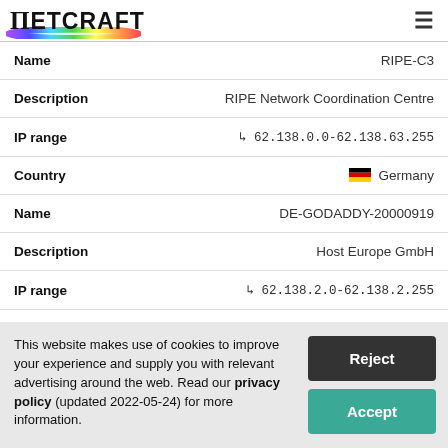Netcraft
| Field | Value |
| --- | --- |
| Name | RIPE-C3 |
| Description | RIPE Network Coordination Centre |
| IP range | ↳ 62.138.0.0-62.138.63.255 |
| Country | Germany |
| Name | DE-GODADDY-20000919 |
| Description | Host Europe GmbH |
| IP range | ↳ 62.138.2.0-62.138.2.255 |
This website makes use of cookies to improve your experience and supply you with relevant advertising around the web. Read our privacy policy (updated 2022-05-24) for more information.